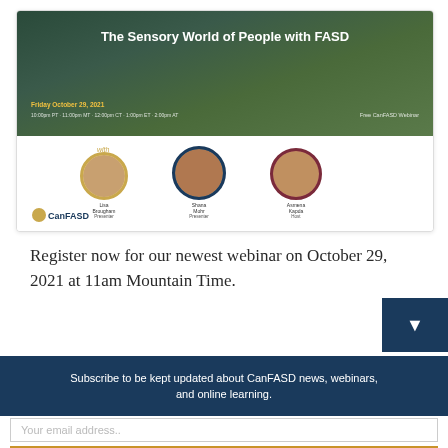[Figure (illustration): CanFASD webinar promotional banner for 'The Sensory World of People with FASD' on Friday October 29, 2021 at 10:00pm PT / 11:00pm MT / 12:00pm CT / 1:00pm ET / 2:00pm AT. Free CanFASD Webinar. Features three speakers: presenter and host, with CanFASD logo.]
Register now for our newest webinar on October 29, 2021 at 11am Mountain Time.
Subscribe to be kept updated about CanFASD news, webinars, and online learning.
Your email address..
Subscribe